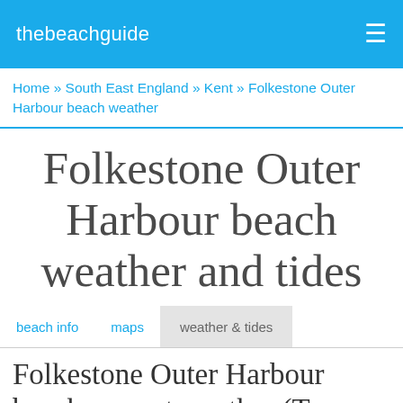thebeachguide
Home » South East England » Kent » Folkestone Outer Harbour beach weather
Folkestone Outer Harbour beach weather and tides
beach info   maps   weather & tides
Folkestone Outer Harbour beach current weather (Tue Aug 30th